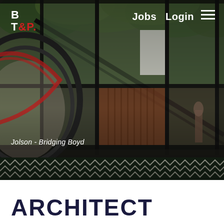[Figure (photo): Architectural photo of a modern glass and steel building with a spiral staircase, seen from the exterior, lush trees in background, geometric patterned tiles visible at bottom]
BT&P. Jobs Login
Jolson - Bridging Boyd
ARCHITECT